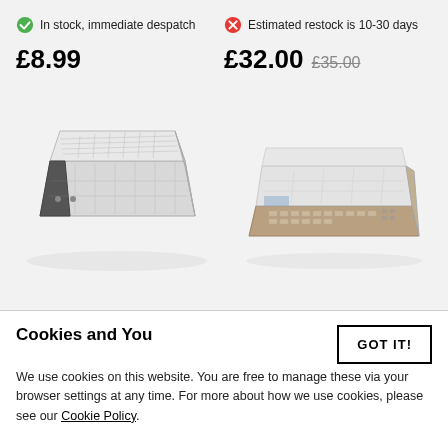In stock, immediate despatch
Estimated restock is 10-30 days
£8.99
£32.00 £35.00
[Figure (photo): Two protective plastic covers for DJ/music equipment shown at an angle. Left: a clear polycarbonate cover for a pad-style controller. Right: a clear cover for a longer, narrower keyboard/mixer unit.]
Cookies and You
GOT IT!
We use cookies on this website. You are free to manage these via your browser settings at any time. For more about how we use cookies, please see our Cookie Policy.